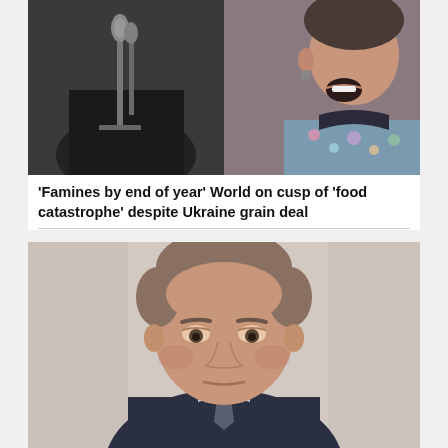[Figure (photo): Split photo: left side shows dark background with microphone stand, right side shows a woman speaking with colorful patterned clothing]
‘Famines by end of year’ World on cusp of ‘food catastrophe’ despite Ukraine grain deal
[Figure (photo): Portrait photo of Prince William in a dark suit with light blue shirt, looking downward with a serious expression, against a light beige background]